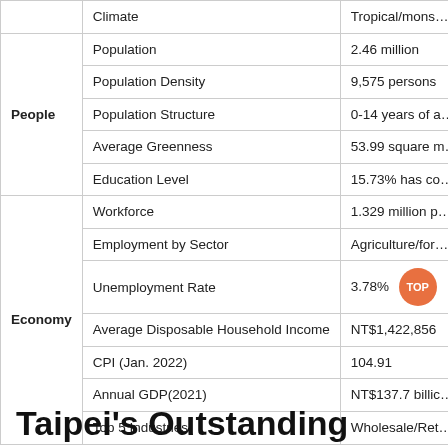| Category | Attribute | Value |
| --- | --- | --- |
|  | Climate | Tropical/mons… |
| People | Population | 2.46 million |
|  | Population Density | 9,575 persons |
|  | Population Structure | 0-14 years of a… |
|  | Average Greenness | 53.99 square m… |
|  | Education Level | 15.73% has co… |
| Economy | Workforce | 1.329 million p… |
|  | Employment by Sector | Agriculture/for… |
|  | Unemployment Rate | 3.78% |
|  | Average Disposable Household Income | NT$1,422,856 |
|  | CPI (Jan. 2022) | 104.91 |
|  | Annual GDP(2021) | NT$137.7 billio… |
|  | Top 5 Industries | Wholesale/Ret… |
Taipei's Outstanding